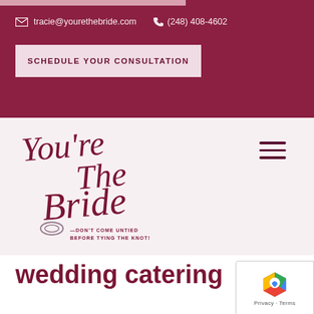tracie@yourethebride.com  (248) 408-4602
SCHEDULE YOUR CONSULTATION
[Figure (logo): You're The Bride logo in dark rose cursive script with tagline 'DON'T COME UNTIED BEFORE TYING THE KNOT!']
wedding catering